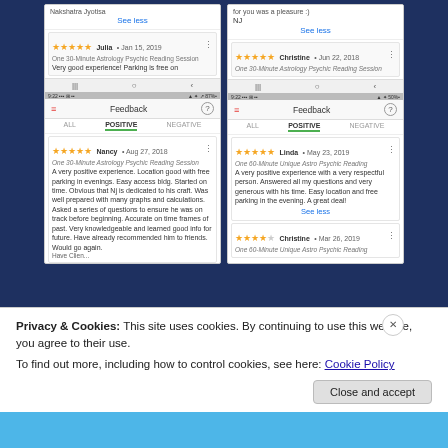[Figure (screenshot): Two mobile phone screenshots showing Feedback pages with positive reviews. Left screenshot shows review by Nancy Aug 27 2018 for One 30-Minute Astrology Psychic Reading Session. Right screenshot shows reviews by Linda May 23 2019 and Christine Mar 26 2019.]
Privacy & Cookies: This site uses cookies. By continuing to use this website, you agree to their use.
To find out more, including how to control cookies, see here: Cookie Policy
Close and accept